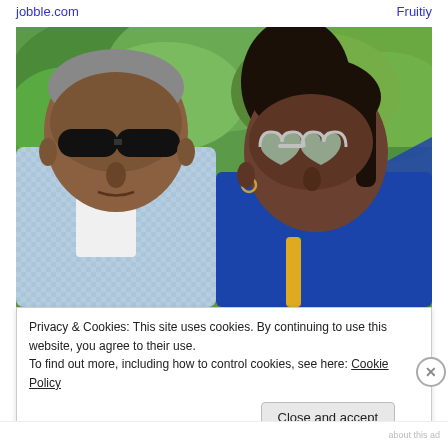jobble.com   Fruitiy
[Figure (photo): A couple posing outdoors with green trees and foliage in the background. The man on the left wears dark sunglasses and a light blue checkered shirt; the woman on the right wears silver heart-shaped sunglasses and a blue top.]
Privacy & Cookies: This site uses cookies. By continuing to use this website, you agree to their use.
To find out more, including how to control cookies, see here: Cookie Policy
Close and accept